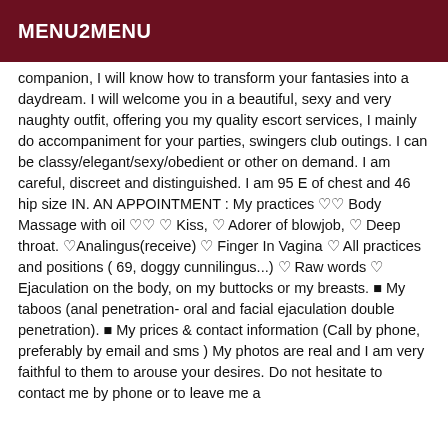MENU2MENU
companion, I will know how to transform your fantasies into a daydream. I will welcome you in a beautiful, sexy and very naughty outfit, offering you my quality escort services, I mainly do accompaniment for your parties, swingers club outings. I can be classy/elegant/sexy/obedient or other on demand. I am careful, discreet and distinguished. I am 95 E of chest and 46 hip size IN. AN APPOINTMENT : My practices ♡♡ Body Massage with oil ♡♡ ♡ Kiss, ♡ Adorer of blowjob, ♡ Deep throat. ♡Analingus(receive) ♡ Finger In Vagina ♡ All practices and positions ( 69, doggy cunnilingus...) ♡ Raw words ♡ Ejaculation on the body, on my buttocks or my breasts. ■ My taboos (anal penetration- oral and facial ejaculation double penetration). ■ My prices & contact information (Call by phone, preferably by email and sms ) My photos are real and I am very faithful to them to arouse your desires. Do not hesitate to contact me by phone or to leave me a